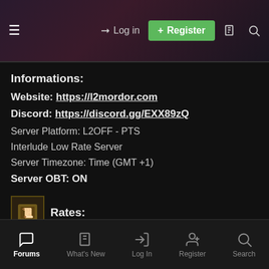[Figure (screenshot): Top navigation bar with hamburger menu, Log in button, green Register button, document icon, and search icon on a dark purple gradient background]
Informations:
Website: https://l2mordor.com
Discord: https://discord.gg/EXX89zQ
Server Platform: L2OFF - PTS
Interlude Low Rate Server
Server Timezone: Time (GMT +1)
Server OBT: ON
Rates:
Experience (XP): x4
Skill Points (SP): x4
[Figure (screenshot): Bottom navigation bar with Forums (active/white), What's New, Log In, Register, and Search icons]